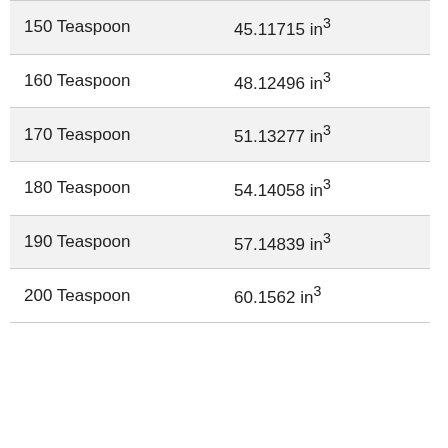| 150 Teaspoon | 45.11715 in³ |
| 160 Teaspoon | 48.12496 in³ |
| 170 Teaspoon | 51.13277 in³ |
| 180 Teaspoon | 54.14058 in³ |
| 190 Teaspoon | 57.14839 in³ |
| 200 Teaspoon | 60.1562 in³ |